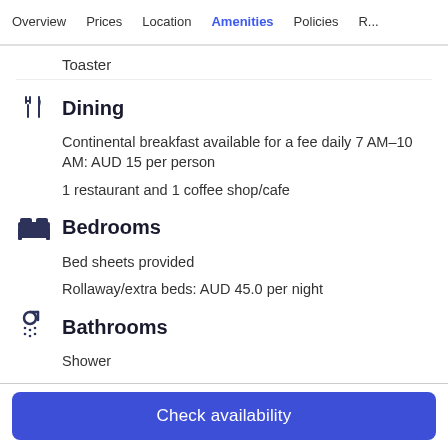Overview | Prices | Location | Amenities | Policies | R...
Toaster
Dining
Continental breakfast available for a fee daily 7 AM–10 AM: AUD 15 per person
1 restaurant and 1 coffee shop/cafe
Bedrooms
Bed sheets provided
Rollaway/extra beds: AUD 45.0 per night
Bathrooms
Shower
Free toiletries
Hairdryer
Check availability